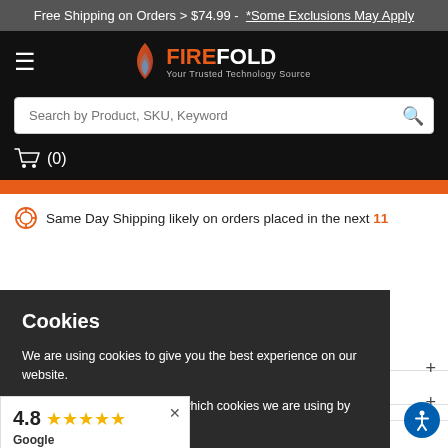Free Shipping on Orders > $74.99 - *Some Exclusions May Apply
[Figure (logo): Firefold logo with flame icon and tagline 'Your Trusted Technology Source']
Search by Product, SKU, Keyword
(0)
Same Day Shipping likely on orders placed in the next 11
Cookies
We are using cookies to give you the best experience on our website.
You can find out more about which cookies we are using by reading our Privacy Policy
I Understand
4.8 ★★★★★ Google Customer Reviews
PACKAGE CONTENTS